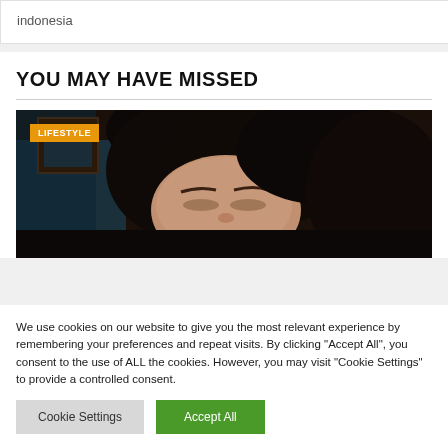indonesia
YOU MAY HAVE MISSED
[Figure (photo): A person with dark hair, face partially visible, dark background with a blue-lit area on the left. Orange LIFESTYLE badge in top-left corner.]
We use cookies on our website to give you the most relevant experience by remembering your preferences and repeat visits. By clicking "Accept All", you consent to the use of ALL the cookies. However, you may visit "Cookie Settings" to provide a controlled consent.
Cookie Settings   Accept All